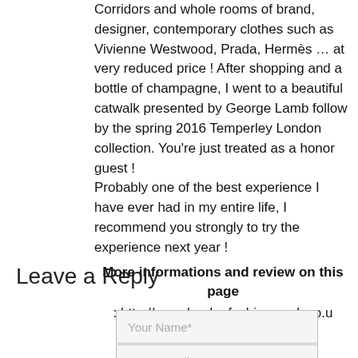Corridors and whole rooms of brand, designer, contemporary clothes such as Vivienne Westwood, Prada, Hermès … at very reduced price ! After shopping and a bottle of champagne, I went to a beautiful catwalk presented by George Lamb follow by the spring 2016 Temperley London collection. You're just treated as a honor guest ! Probably one of the best experience I have ever had in my entire life, I recommend you strongly to try the experience next year !
More informations and review on this page : http://www.londonfashionweek.co.u
Leave a Reply
Your Name*
Your E-Mail*